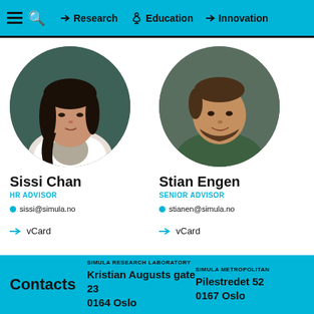Research | Education | Innovation
[Figure (photo): Circular portrait photo of Sissi Chan, woman with dark hair, white jacket]
Sissi Chan
HR ADVISOR
sissi@simula.no
vCard
[Figure (photo): Circular portrait photo of Stian Engen, man with beard, green shirt]
Stian Engen
SENIOR ADVISOR
stianen@simula.no
vCard
Contacts | SIMULA RESEARCH LABORATORY Kristian Augusts gate 23 0164 Oslo | SIMULA METROPOLITAN Pilestredet 52 0167 Oslo